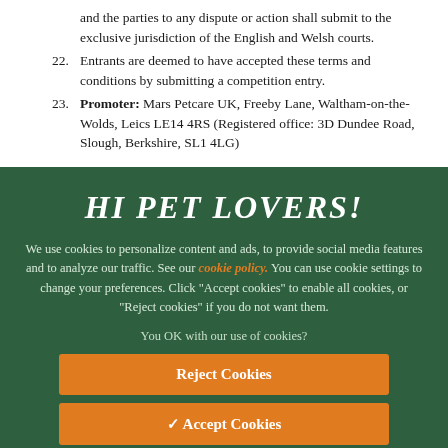and the parties to any dispute or action shall submit to the exclusive jurisdiction of the English and Welsh courts.
22. Entrants are deemed to have accepted these terms and conditions by submitting a competition entry.
23. Promoter: Mars Petcare UK, Freeby Lane, Waltham-on-the-Wolds, Leics LE14 4RS (Registered office: 3D Dundee Road, Slough, Berkshire, SL1 4LG)
HI PET LOVERS!
We use cookies to personalize content and ads, to provide social media features and to analyze our traffic. See our cookie policy. You can use cookie settings to change your preferences. Click "Accept cookies" to enable all cookies, or "Reject cookies" if you do not want them.
You OK with our use of cookies?
Reject Cookies
✓ Accept Cookies
Cookie Settings